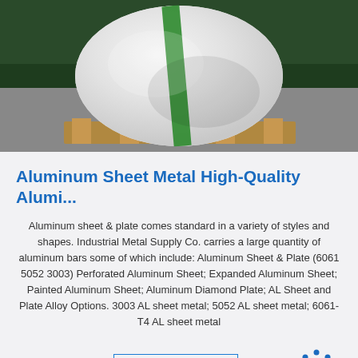[Figure (photo): A large roll of aluminum sheet metal wrapped in white protective covering with a green stripe, placed on a wooden pallet. Background shows a dark green wall and grey floor.]
Aluminum Sheet Metal High-Quality Alumi...
Aluminum sheet & plate comes standard in a variety of styles and shapes. Industrial Metal Supply Co. carries a large quantity of aluminum bars some of which include: Aluminum Sheet & Plate (6061 5052 3003) Perforated Aluminum Sheet; Expanded Aluminum Sheet; Painted Aluminum Sheet; Aluminum Diamond Plate; AL Sheet and Plate Alloy Options. 3003 AL sheet metal; 5052 AL sheet metal; 6061-T4 AL sheet metal
[Figure (logo): TOP logo with dotted arc above the text 'TOP' in blue]
[Figure (photo): Partial view of metal sheets or aluminum plates in an industrial setting]